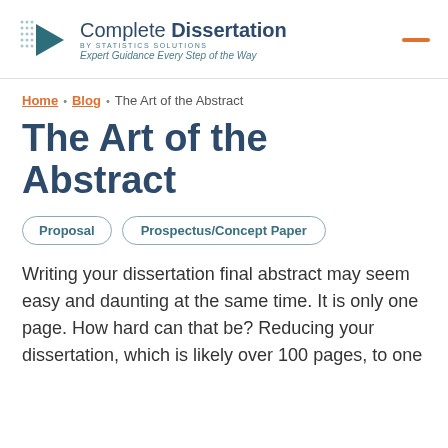[Figure (logo): Complete Dissertation by Statistics Solutions logo with teal play-button arrow icon and tagline 'Expert Guidance Every Step of the Way']
Home · Blog · The Art of the Abstract
The Art of the Abstract
Proposal
Prospectus/Concept Paper
Writing your dissertation final abstract may seem easy and daunting at the same time. It is only one page. How hard can that be? Reducing your dissertation, which is likely over 100 pages, to one